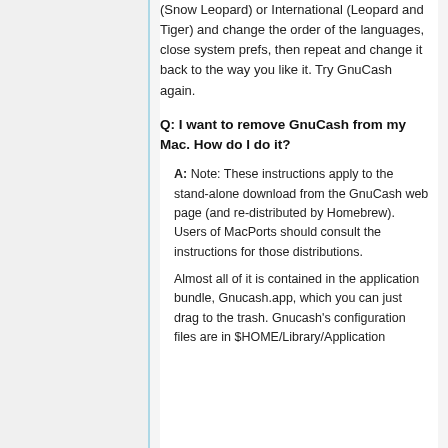(Snow Leopard) or International (Leopard and Tiger) and change the order of the languages, close system prefs, then repeat and change it back to the way you like it. Try GnuCash again.
Q: I want to remove GnuCash from my Mac. How do I do it?
A: Note: These instructions apply to the stand-alone download from the GnuCash web page (and re-distributed by Homebrew). Users of MacPorts should consult the instructions for those distributions.
Almost all of it is contained in the application bundle, Gnucash.app, which you can just drag to the trash. Gnucash's configuration files are in $HOME/Library/Application